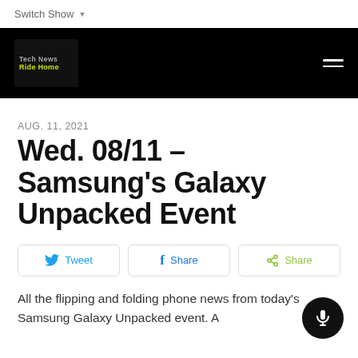Switch Show
[Figure (logo): Tech News Ride Home podcast logo on black navigation bar with hamburger menu icon]
AUG. 11, 2021
Wed. 08/11 – Samsung's Galaxy Unpacked Event
Tweet | Share | Share
All the flipping and folding phone news from today's Samsung Galaxy Unpacked event. A